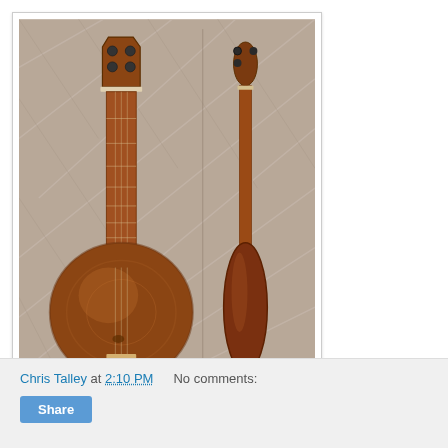[Figure (photo): Two views of a wooden stringed instrument (appears to be a lute or mandolin-like instrument) photographed against a beige/tan fabric background. Left view shows the front/face with a round body, neck, and tuning pegs. Right view shows the side profile of the same instrument.]
Chris Talley at 2:10 PM    No comments:
Share